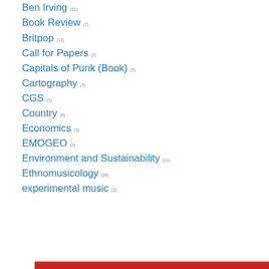Ben Irving (31)
Book Review (7)
Britpop (13)
Call for Papers (2)
Capitals of Punk (Book) (5)
Cartography (7)
CGS (1)
Country (6)
Economics (3)
EMOGEO (2)
Environment and Sustainability (11)
Ethnomusicology (26)
experimental music (3)
Privacy & Cookies: This site uses cookies. By continuing to use this website, you agree to their use. To find out more, including how to control cookies, see here: Cookie Policy
Close and accept